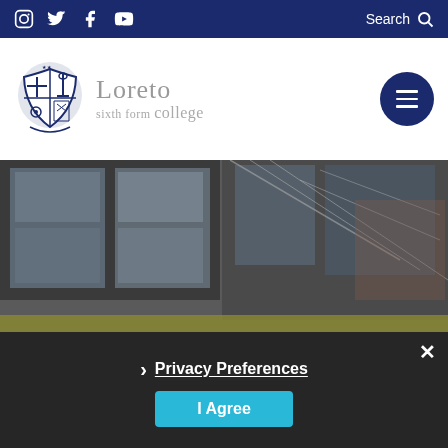Search
[Figure (logo): Loreto sixth form college logo with crest and text]
[Figure (photo): Exterior photo of college building showing glass panels and brick structure]
Privacy Preferences
I Agree